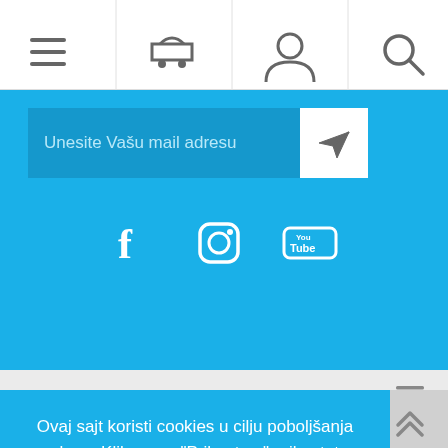[Figure (screenshot): Top navigation bar with menu (hamburger), cart, user, and search icons]
[Figure (screenshot): Blue section with email input field 'Unesite Vašu mail adresu', send button, and social media icons (Facebook, Instagram, YouTube)]
INFORMACIJE
KORISNIČKI SERVIS
Ovaj sajt koristi cookies u cilju poboljšanja usluge. Klikom na "Prihvatam" prihvatate uslove korišćenja.
PRIHVATAM
Opširnije